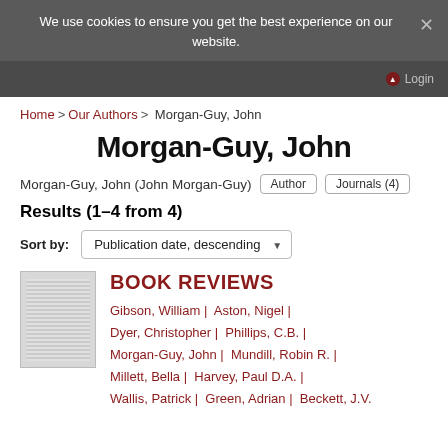We use cookies to ensure you get the best experience on our website.
Login
Home > Our Authors > Morgan-Guy, John
Morgan-Guy, John
Morgan-Guy, John (John Morgan-Guy)  Author  Journals (4)
Results (1–4 from 4)
Sort by: Publication date, descending
BOOK REVIEWS
Gibson, William |  Aston, Nigel |  Dyer, Christopher |  Phillips, C.B. |  Morgan-Guy, John |  Mundill, Robin R. |  Millett, Bella |  Harvey, Paul D.A. |  Wallis, Patrick |  Green, Adrian |  Beckett, J.V.